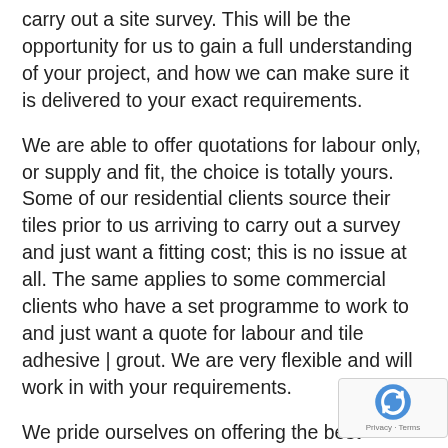carry out a site survey. This will be the opportunity for us to gain a full understanding of your project, and how we can make sure it is delivered to your exact requirements.
We are able to offer quotations for labour only, or supply and fit, the choice is totally yours. Some of our residential clients source their tiles prior to us arriving to carry out a survey and just want a fitting cost; this is no issue at all. The same applies to some commercial clients who have a set programme to work to and just want a quote for labour and tile adhesive | grout. We are very flexible and will work in with your requirements.
We pride ourselves on offering the best